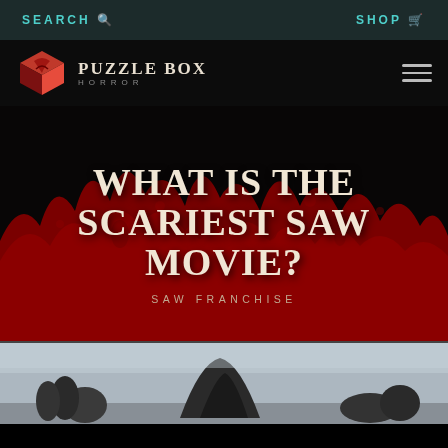SEARCH  SHOP
[Figure (logo): Puzzle Box Horror website logo with red cube icon and text 'Puzzle Box Horror']
WHAT IS THE SCARIEST SAW MOVIE?
SAW FRANCHISE
[Figure (photo): Photo at the bottom of the page showing silhouetted figures in a misty or foggy outdoor setting]